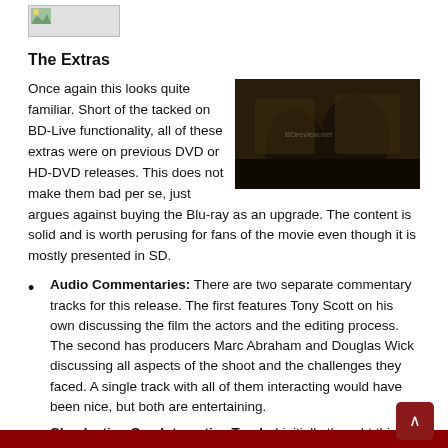[Figure (photo): Small placeholder image icon at top of page]
The Extras
Once again this looks quite familiar. Short of the tacked on BD-Live functionality, all of these extras were on previous DVD or HD-DVD releases. This does not make them bad per se, just argues against buying the Blu-ray as an upgrade. The content is solid and is worth perusing for fans of the movie even though it is mostly presented in SD.
[Figure (photo): Dark movie still showing soldiers or figures in camouflage in a shadowy outdoor setting]
Audio Commentaries: There are two separate commentary tracks for this release. The first features Tony Scott on his own discussing the film the actors and the editing process. The second has producers Marc Abraham and Douglas Wick discussing all aspects of the shoot and the challenges they faced. A single track with all of them interacting would have been nice, but both are entertaining.
Clandestine Ops Interactive Track: I initially thought this was a PiP feature but the overlay elements are more akin to an icon hunt that